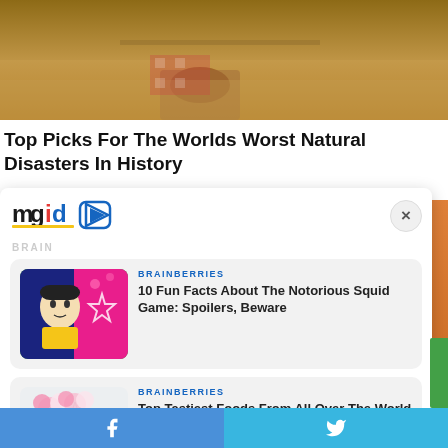[Figure (photo): Hero image showing a person near sandy/muddy ground, related to natural disasters]
Top Picks For The Worlds Worst Natural Disasters In History
[Figure (logo): mgid logo with play icon]
BRAINBERRIES
[Figure (photo): Thumbnail image of Squid Game doll character in front of colorful background]
BRAINBERRIES
10 Fun Facts About The Notorious Squid Game: Spoilers, Beware
[Figure (photo): Thumbnail image of food items (cotton candy or similar) in paper cones]
BRAINBERRIES
Top Tastiest Foods From All Over The World
Facebook share | Twitter share